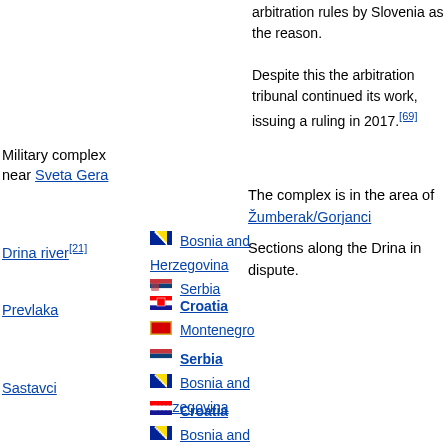arbitration rules by Slovenia as the reason.

Despite this the arbitration tribunal continued its work, issuing a ruling in 2017.[69]
Military complex near Sveta Gera
The complex is in the area of Žumberak/Gorjanci
Drina river[21]
Bosnia and Herzegovina
Serbia
Sections along the Drina in dispute.
Prevlaka
Croatia
Montenegro
Serbia
Bosnia and Herzegovina
Sastavci
Croatia
Bosnia and Herzegovina
Oceania
| Territory | Claimants | Notes |
| --- | --- | --- |